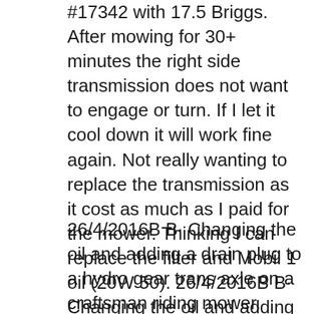#17342 with 17.5 Briggs. After mowing for 30+ minutes the right side transmission does not want to engage or turn. If I let it cool down it will work fine again. Not really wanting to replace the transmission as it cost as much as I paid for the mower. Thinking I can replace the filter and Mobil 1 oil (20W 50). 26/4/2016B B· Changing the oil and adding a drain plug to a hydro gear trans axle on a craftsman riding mower. Affiliate Links 20w-50 Oil - https://amzn.to/2oBTnXB 1/4 NPT...
26/4/2016B B· Changing the oil and adding a drain plug to a hydro gear trans axle on a craftsman riding mower. Affiliate Links 20w-50 Oil -